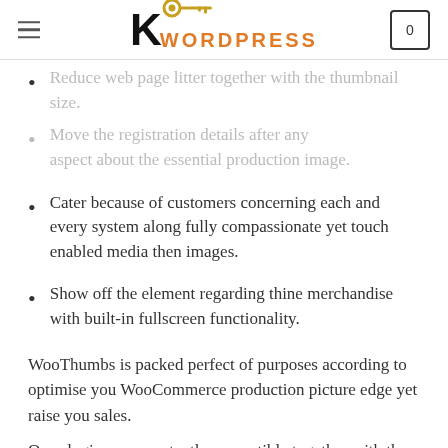K WORDPRESS
Reduce web page litter together with the thumbnail size.
Move the registration details after any aspect about the essential production image.
Cater because of customers concerning each and every system along fully compassionate yet touch enabled media then images.
Show off the element regarding thine merchandise with built-in fullscreen functionality.
WooThumbs is packed perfect of purposes according to optimise you WooCommerce production picture edge yet raise you sales.
Our plugins are constantly compatible together with the trendy version concerning WooCommerce, or are complemented with the aid of worthy support. Improve your product photo gallery, enhance thy sales, or experience the